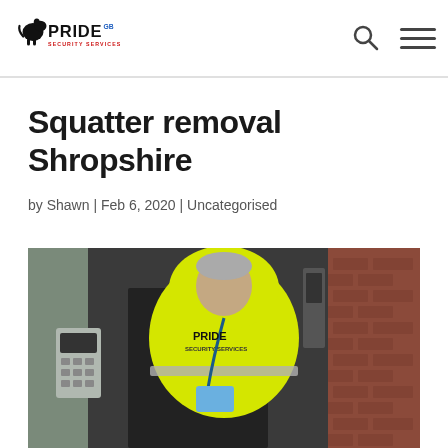Pride GB Security Services — logo header with search and menu icons
Squatter removal Shropshire
by Shawn | Feb 6, 2020 | Uncategorised
[Figure (photo): Security guard wearing a bright yellow hi-vis jacket with 'PRIDE Security Services' logo, standing outside a brick building with an entry keypad visible on the left.]